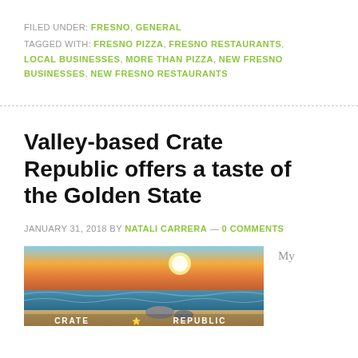FILED UNDER: FRESNO, GENERAL
TAGGED WITH: FRESNO PIZZA, FRESNO RESTAURANTS, LOCAL BUSINESSES, MORE THAN PIZZA, NEW FRESNO BUSINESSES, NEW FRESNO RESTAURANTS
Valley-based Crate Republic offers a taste of the Golden State
JANUARY 31, 2018 BY NATALI CARRERA — 0 COMMENTS
[Figure (photo): Beach scene at sunset with waves and sand, Crate Republic logo text visible at bottom]
My